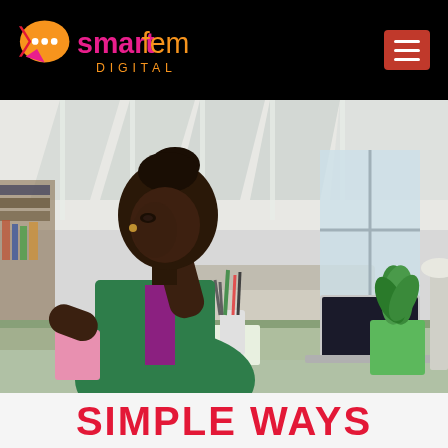smartfem DIGITAL
[Figure (photo): A Black woman in a green cardigan leaning over a desk with a laptop, hand on her face in a stressed or concentrated pose, in a bright modern home office with skylights, a potted plant, and office supplies on the desk.]
SIMPLE WAYS